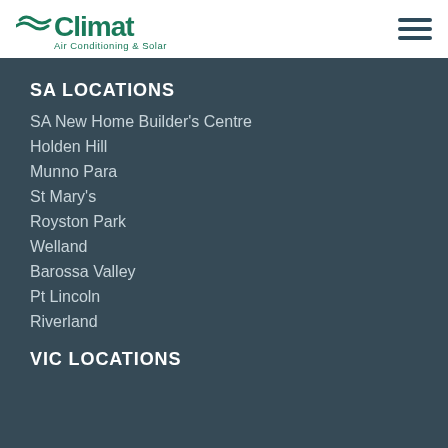[Figure (logo): Climat Air Conditioning & Solar logo with teal wave/wind symbol and teal text]
SA LOCATIONS
SA New Home Builder's Centre
Holden Hill
Munno Para
St Mary's
Royston Park
Welland
Barossa Valley
Pt Lincoln
Riverland
VIC LOCATIONS